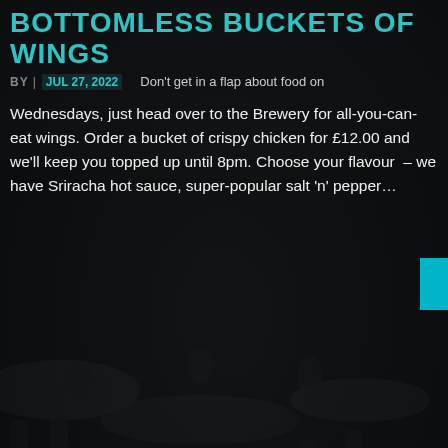BOTTOMLESS BUCKETS OF WINGS
BY | JUL 27, 2022   Don't get in a flap about food on
Wednesdays, just head over to the Brewery for all-you-can-eat wings. Order a bucket of crispy chicken for £12.00 and we'll keep you topped up until 8pm. Choose your flavour – we have Sriracha hot sauce, super-popular salt 'n' pepper…